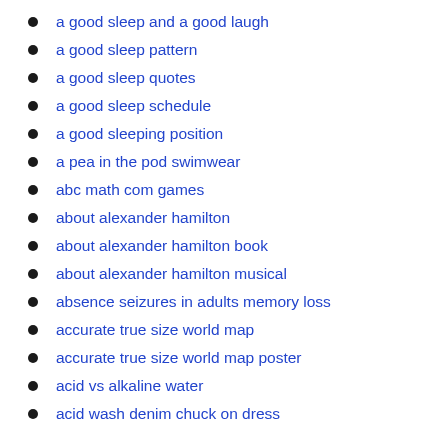a good sleep and a good laugh
a good sleep pattern
a good sleep quotes
a good sleep schedule
a good sleeping position
a pea in the pod swimwear
abc math com games
about alexander hamilton
about alexander hamilton book
about alexander hamilton musical
absence seizures in adults memory loss
accurate true size world map
accurate true size world map poster
acid vs alkaline water
acid wash denim chuck on dress